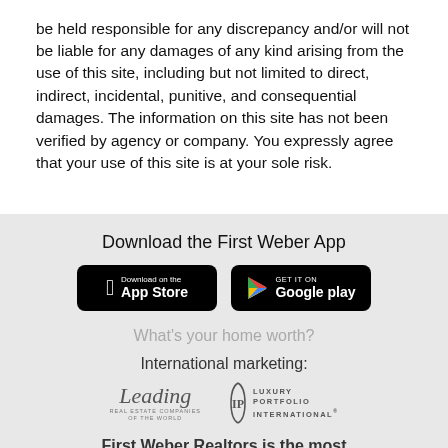be held responsible for any discrepancy and/or will not be liable for any damages of any kind arising from the use of this site, including but not limited to direct, indirect, incidental, punitive, and consequential damages. The information on this site has not been verified by agency or company. You expressly agree that your use of this site is at your sole risk.
Download the First Weber App
[Figure (logo): App Store download button (black rounded rectangle with Apple logo and 'Download on the App Store' text)]
[Figure (logo): Google Play download button (black rounded rectangle with Google Play triangle logo and 'GET IT ON Google play' text)]
What's your home worth?
International marketing:
[Figure (logo): Leading Real Estate Companies of the World logo - cursive 'Leading' text above 'REAL ESTATE COMPANIES OF THE WORLD' in small caps]
[Figure (logo): Luxury Portfolio International logo - IP monogram bracket symbol with 'LUXURY PORTFOLIO INTERNATIONAL' text]
First Weber Realtors is the most